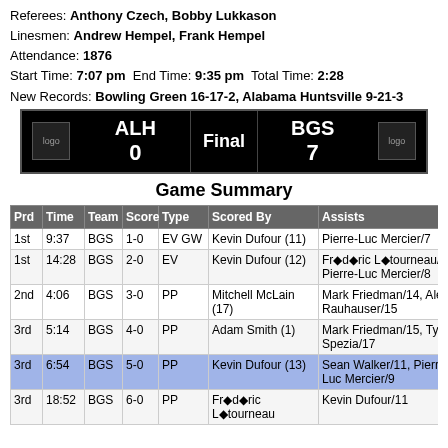Referees: Anthony Czech, Bobby Lukkason
Linesmen: Andrew Hempel, Frank Hempel
Attendance: 1876
Start Time: 7:07 pm  End Time: 9:35 pm  Total Time: 2:28
New Records: Bowling Green 16-17-2, Alabama Huntsville 9-21-3
| logo | ALH 0 | Final | BGS 7 | logo |
Game Summary
| Prd | Time | Team | Score | Type | Scored By | Assists |
| --- | --- | --- | --- | --- | --- | --- |
| 1st | 9:37 | BGS | 1-0 | EV GW | Kevin Dufour (11) | Pierre-Luc Mercier/7 |
| 1st | 14:28 | BGS | 2-0 | EV | Kevin Dufour (12) | Fr◆d◆ric L◆tourneau/8, Pierre-Luc Mercier/8 |
| 2nd | 4:06 | BGS | 3-0 | PP | Mitchell McLain (17) | Mark Friedman/14, Alec Rauhauser/15 |
| 3rd | 5:14 | BGS | 4-0 | PP | Adam Smith (1) | Mark Friedman/15, Tyler Spezia/17 |
| 3rd | 6:54 | BGS | 5-0 | PP | Kevin Dufour (13) | Sean Walker/11, Pierre-Luc Mercier/9 |
| 3rd | 18:52 | BGS | 6-0 | PP | Fr◆d◆ric L◆tourneau | Kevin Dufour/11 |